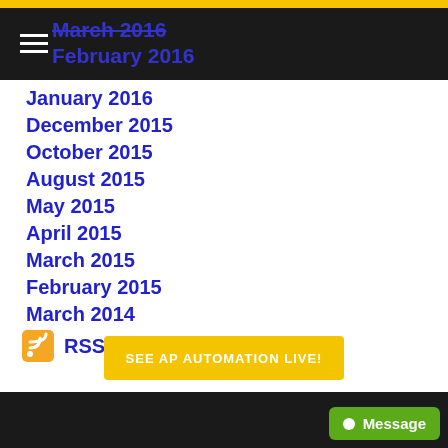March 2016
February 2016
January 2016
December 2015
October 2015
August 2015
May 2015
April 2015
March 2015
February 2015
March 2014
RSS Feed
SEE AP AUTOMATION LIVE!
Message